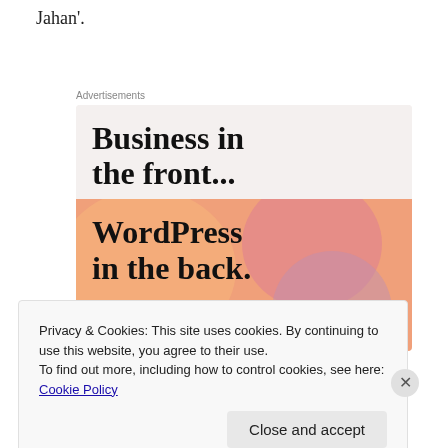Jahan'.
Advertisements
[Figure (illustration): Advertisement banner with two sections: top section on light beige background with bold text 'Business in the front...', bottom section with colorful blob shapes (orange, pink, mauve) and bold text 'WordPress in the back.']
Privacy & Cookies: This site uses cookies. By continuing to use this website, you agree to their use.
To find out more, including how to control cookies, see here: Cookie Policy
Close and accept